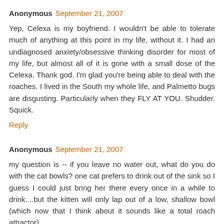Anonymous September 21, 2007
Yep, Celexa is my boyfriend. I wouldn't be able to tolerate much of anything at this point in my life, without it. I had an undiagnosed anxiety/obsessive thinking disorder for most of my life, but almost all of it is gone with a small dose of the Celexa. Thank god. I'm glad you're being able to deal with the roaches. I lived in the South my whole life, and Palmetto bugs are disgusting. Particularly when they FLY AT YOU. Shudder. Squick.
Reply
Anonymous September 21, 2007
my question is -- if you leave no water out, what do you do with the cat bowls? one cat prefers to drink out of the sink so I guess I could just bring her there every once in a while to drink....but the kitten will only lap out of a low, shallow bowl (which now that I think about it sounds like a total roach attractor).
Reply